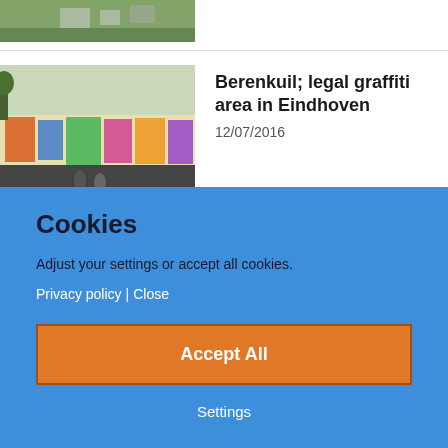[Figure (photo): Aerial view of outdoor area, partially cropped at top]
[Figure (photo): Photo of Berenkuil graffiti wall in Eindhoven with cyclists in foreground]
Berenkuil; legal graffiti area in Eindhoven
12/07/2016
[Figure (photo): Partially visible photo for third article]
Feeling like a king or queen in Den...
Cookies
Adjust your settings or accept all cookies.
Privacy policy | Close
Accept All
Settings